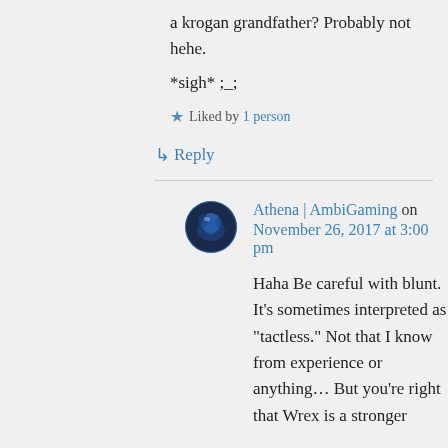a krogan grandfather? Probably not hehe.
*sigh* ;_;
★ Liked by 1 person
↳ Reply
Athena | AmbiGaming on November 26, 2017 at 3:00 pm
Haha Be careful with blunt. It's sometimes interpreted as "tactless." Not that I know from experience or anything… But you're right that Wrex is a stronger